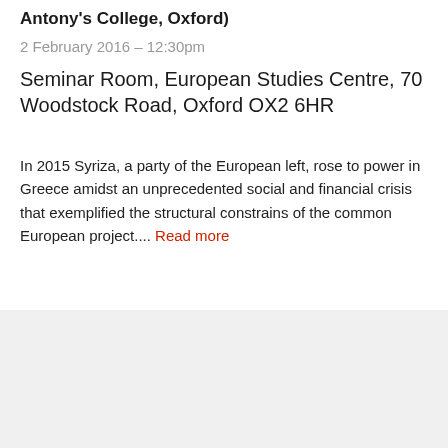Antony's College, Oxford)
2 February 2016 – 12:30pm
Seminar Room, European Studies Centre, 70 Woodstock Road, Oxford OX2 6HR
In 2015 Syriza, a party of the European left, rose to power in Greece amidst an unprecedented social and financial crisis that exemplified the structural constrains of the common European project.... Read more
Oxford Login
CONTACT
FREEDOM OF INFORMATION
FACEBOOK
TWITTER
LINKEDIN